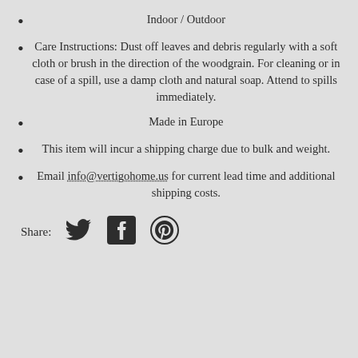Indoor / Outdoor
Care Instructions: Dust off leaves and debris regularly with a soft cloth or brush in the direction of the woodgrain. For cleaning or in case of a spill, use a damp cloth and natural soap. Attend to spills immediately.
Made in Europe
This item will incur a shipping charge due to bulk and weight.
Email info@vertigohome.us for current lead time and additional shipping costs.
Share: